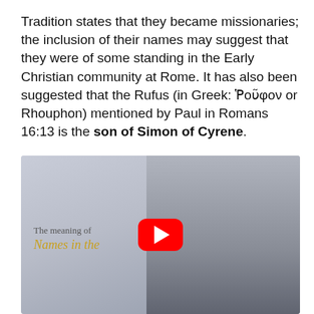Tradition states that they became missionaries; the inclusion of their names may suggest that they were of some standing in the Early Christian community at Rome. It has also been suggested that the Rufus (in Greek: Ῥοῦφον or Rhouphon) mentioned by Paul in Romans 16:13 is the son of Simon of Cyrene.
[Figure (screenshot): YouTube video thumbnail showing a man in a dark jacket with text overlay reading 'The meaning of Names in the' and a red YouTube play button in the center.]